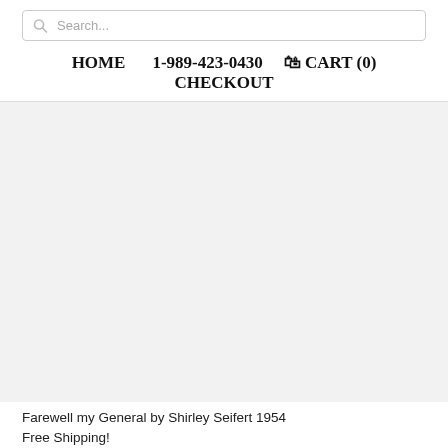Search...
HOME   1-989-423-0430   CART (0)   CHECKOUT
[Figure (other): Large empty light grey content area placeholder for product image]
Farewell my General by Shirley Seifert 1954
Free Shipping!